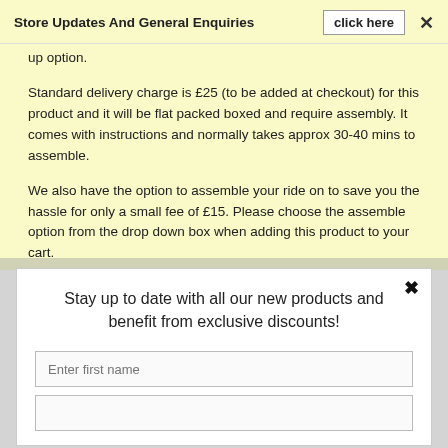Store Updates And General Enquiries   click here   ×
up option.
Standard delivery charge is £25 (to be added at checkout) for this product and it will be flat packed boxed and require assembly. It comes with instructions and normally takes approx 30-40 mins to assemble.
We also have the option to assemble your ride on to save you the hassle for only a small fee of £15. Please choose the assemble option from the drop down box when adding this product to your cart.
Stay up to date with all our new products and benefit from exclusive discounts!
Enter first name